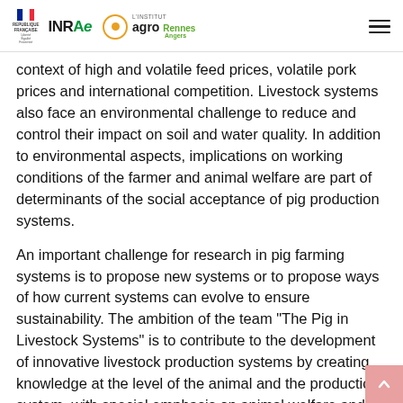REPUBLIQUE FRANÇAISE | INRAE | L'Institut agro Rennes Angers
context of high and volatile feed prices, volatile pork prices and international competition. Livestock systems also face an environmental challenge to reduce and control their impact on soil and water quality. In addition to environmental aspects, implications on working conditions of the farmer and animal welfare are part of determinants of the social acceptance of pig production systems.
An important challenge for research in pig farming systems is to propose new systems or to propose ways of how current systems can evolve to ensure sustainability. The ambition of the team "The Pig in Livestock Systems" is to contribute to the development of innovative livestock production systems by creating knowledge at the level of the animal and the production system, with special emphasis on animal welfare and environment, and by developing tools allowing the evaluation or the evolution of